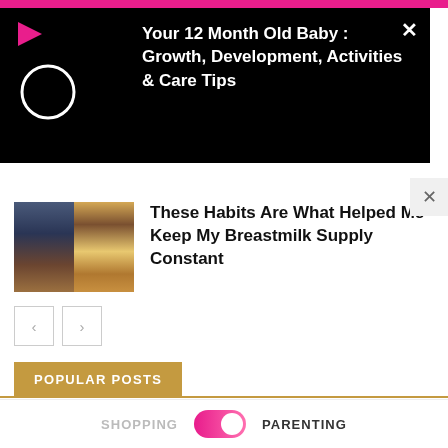[Figure (screenshot): Video popup overlay on black background with play icon, loading circle, and article title text]
Your 12 Month Old Baby : Growth, Development, Activities & Care Tips
[Figure (photo): Article thumbnail showing two images side by side: children playing in snow on left, storefront on right]
These Habits Are What Helped Me Keep My Breastmilk Supply Constant
ADVERTISEMENT
POPULAR POSTS
SHOPPING    PARENTING